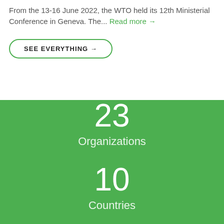From the 13-16 June 2022, the WTO held its 12th Ministerial Conference in Geneva. The... Read more →
SEE EVERYTHING →
23
Organizations
10
Countries